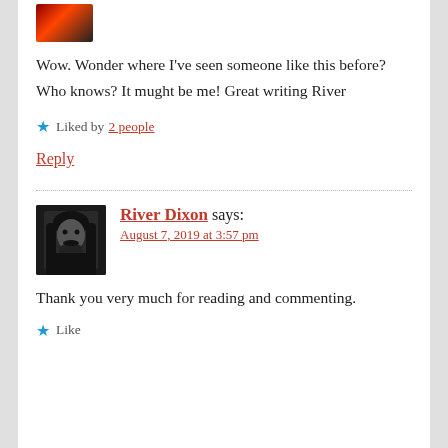[Figure (photo): Small avatar photo with orange/red tones]
Wow. Wonder where I've seen someone like this before? Who knows? It mught be me! Great writing River
Liked by 2 people
Reply
[Figure (photo): Black and white avatar photo of River Dixon, a man with long hair and beard]
River Dixon says:
August 7, 2019 at 3:57 pm
Thank you very much for reading and commenting.
Like